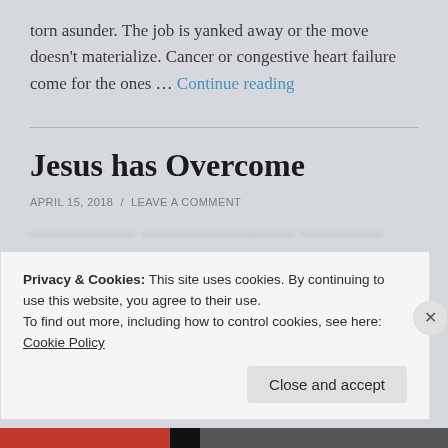torn asunder. The job is yanked away or the move doesn't materialize. Cancer or congestive heart failure come for the ones … Continue reading
Jesus has Overcome
APRIL 15, 2018 / LEAVE A COMMENT
Privacy & Cookies: This site uses cookies. By continuing to use this website, you agree to their use. To find out more, including how to control cookies, see here: Cookie Policy